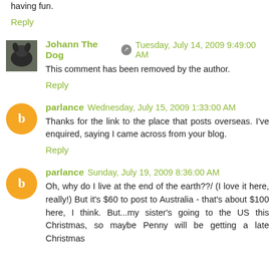having fun.
Reply
Johann The Dog  Tuesday, July 14, 2009 9:49:00 AM
This comment has been removed by the author.
Reply
parlance  Wednesday, July 15, 2009 1:33:00 AM
Thanks for the link to the place that posts overseas. I've enquired, saying I came across from your blog.
Reply
parlance  Sunday, July 19, 2009 8:36:00 AM
Oh, why do I live at the end of the earth??/ (I love it here, really!) But it's $60 to post to Australia - that's about $100 here, I think. But...my sister's going to the US this Christmas, so maybe Penny will be getting a late Christmas